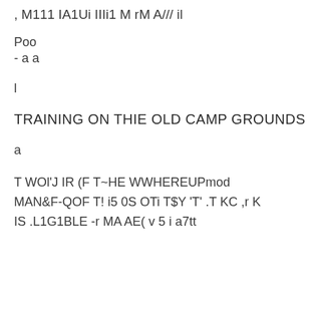, M111 IA1Ui IIIi1 M rM A/// il
Poo
- a  a
l
TRAINING ON THIE OLD CAMP GROUNDS
a
T WOl'J IR (F T~HE WWHEREUPmod MAN&F-QOF T! i5 0S OTi T$Y 'T' .T KC ,r K IS .L1G1BLE -r MA AE( v 5 i a7tt